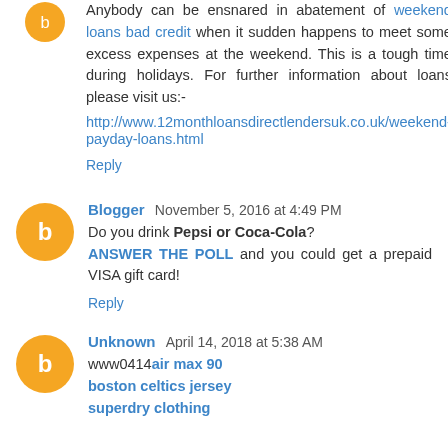Anybody can be ensnared in abatement of weekend loans bad credit when it sudden happens to meet some excess expenses at the weekend. This is a tough time during holidays. For further information about loans please visit us:- http://www.12monthloansdirectlendersuk.co.uk/weekend-payday-loans.html
Reply
Blogger  November 5, 2016 at 4:49 PM
Do you drink Pepsi or Coca-Cola? ANSWER THE POLL and you could get a prepaid VISA gift card!
Reply
Unknown  April 14, 2018 at 5:38 AM
www0414air max 90
boston celtics jersey
superdry clothing